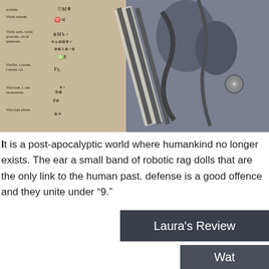[Figure (photo): Composite image: left half shows an aged alchemical or historical manuscript page with Latin text and alchemical symbols; right half shows robotic rag doll figures with metal and fabric parts, likely from the animated film '9'.]
It is a post-apocalyptic world where humankind no longer exists. The ear a small band of robotic rag dolls that are the only link to the human past. defense is a good offence and they unite under "9."
Laura's Review
Wat